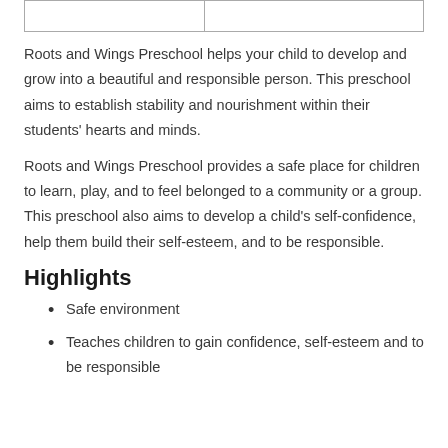|  |  |
| --- | --- |
|  |  |
Roots and Wings Preschool helps your child to develop and grow into a beautiful and responsible person. This preschool aims to establish stability and nourishment within their students' hearts and minds.
Roots and Wings Preschool provides a safe place for children to learn, play, and to feel belonged to a community or a group. This preschool also aims to develop a child's self-confidence, help them build their self-esteem, and to be responsible.
Highlights
Safe environment
Teaches children to gain confidence, self-esteem and to be responsible